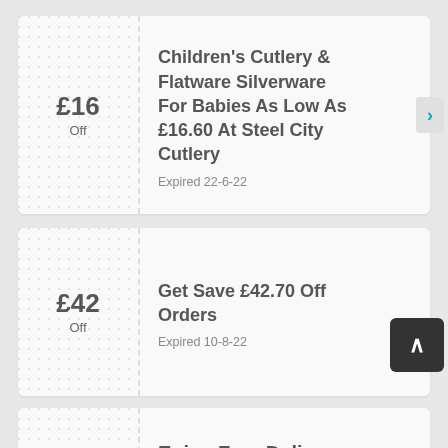£16 Off
Children's Cutlery & Flatware Silverware For Babies As Low As £16.60 At Steel City Cutlery
Expired 22-6-22
£42 Off
Get Save £42.70 Off Orders
Expired 10-8-22
Enjoy Free Delivery